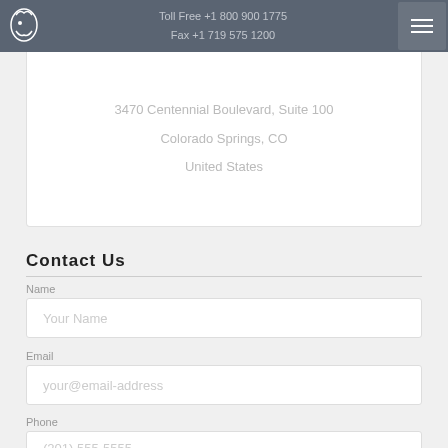Toll Free +1 800 900 1775 | Fax +1 719 575 1200
3470 Centennial Boulevard, Suite 100
Colorado Springs, CO
United States
Contact Us
Name
Your Name
Email
your@email-address
Phone
(201) 555-5555